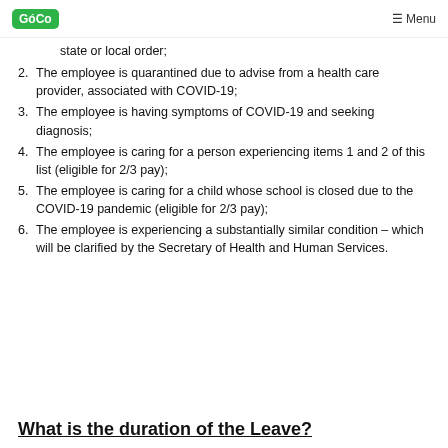GoCo  Menu
state or local order;
2. The employee is quarantined due to advise from a health care provider, associated with COVID-19;
3. The employee is having symptoms of COVID-19 and seeking diagnosis;
4. The employee is caring for a person experiencing items 1 and 2 of this list (eligible for 2/3 pay);
5. The employee is caring for a child whose school is closed due to the COVID-19 pandemic (eligible for 2/3 pay);
6. The employee is experiencing a substantially similar condition – which will be clarified by the Secretary of Health and Human Services.
What is the duration of the Leave?